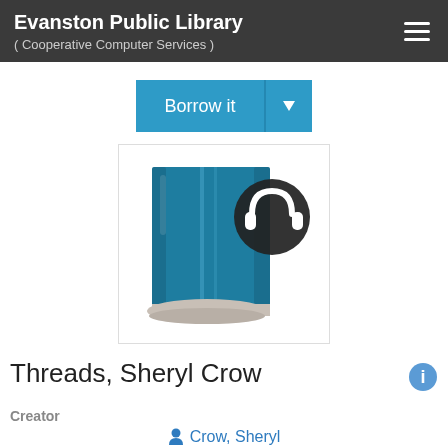Evanston Public Library ( Cooperative Computer Services )
[Figure (other): Borrow it button with dropdown arrow in blue]
[Figure (illustration): Blue book with digital/download overlay icon (headphones/download circle)]
Threads, Sheryl Crow
Creator
Crow, Sheryl